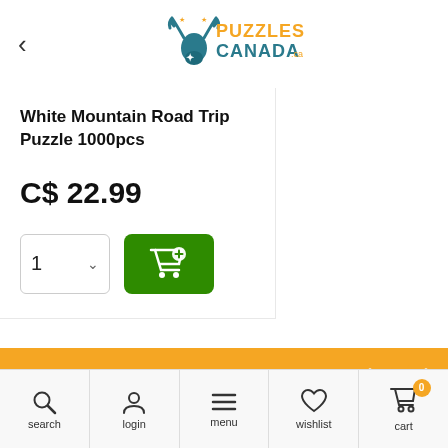Puzzles Canada (logo header with back button)
White Mountain Road Trip Puzzle 1000pcs
C$ 22.99
Quantity: 1, Add to cart button
Call, message or email us for more information
905-873-4410 Toll free
search | login | menu | wishlist | cart (0)